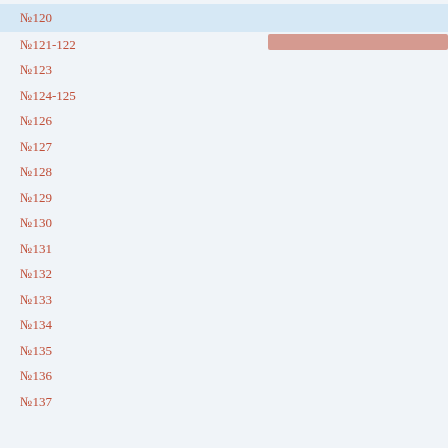№120
№121-122
№123
№124-125
№126
№127
№128
№129
№130
№131
№132
№133
№134
№135
№136
№137